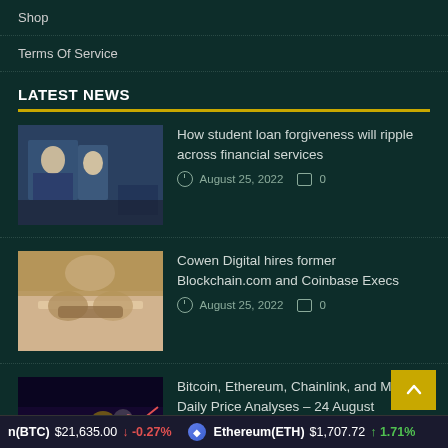Shop
Terms Of Service
LATEST NEWS
How student loan forgiveness will ripple across financial services
August 25, 2022   0
Cowen Digital hires former Blockchain.com and Coinbase Execs
August 25, 2022   0
Bitcoin, Ethereum, Chainlink, and Monero Daily Price Analyses – 24 August Roundup
August 25, 2022   0
n(BTC)  $21,635.00  ↓ -0.27%    Ethereum(ETH)  $1,707.72  ↑ 1.71%